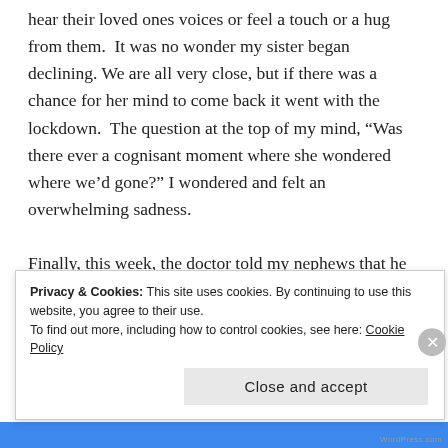hear their loved ones voices or feel a touch or a hug from them.  It was no wonder my sister began declining. We are all very close, but if there was a chance for her mind to come back it went with the lockdown.  The question at the top of my mind, "Was there ever a cognisant moment where she wondered where we'd gone?" I wondered and felt an overwhelming sadness.

Finally, this week, the doctor told my nephews that he did not believe she would recover.  Her brain has apparently atrophied.  Of course, if it isn't being used
Privacy & Cookies: This site uses cookies. By continuing to use this website, you agree to their use.
To find out more, including how to control cookies, see here: Cookie Policy
Close and accept